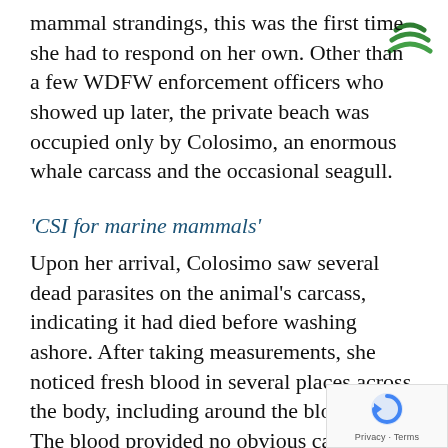mammal strandings, this was the first time she had to respond on her own. Other than a few WDFW enforcement officers who showed up later, the private beach was occupied only by Colosimo, an enormous whale carcass and the occasional seagull.
[Figure (logo): NOAA / fisheries green wave logo in top right corner]
‘CSI for marine mammals’
Upon her arrival, Colosimo saw several dead parasites on the animal’s carcass, indicating it had died before washing ashore. After taking measurements, she noticed fresh blood in several places across the body, including around the blowhole. The blood provided no obvious cause of death, but hinted at possible internal disease or the whale having scraped against something sharp.
[Figure (logo): reCAPTCHA logo with Privacy and Terms text in bottom right corner]